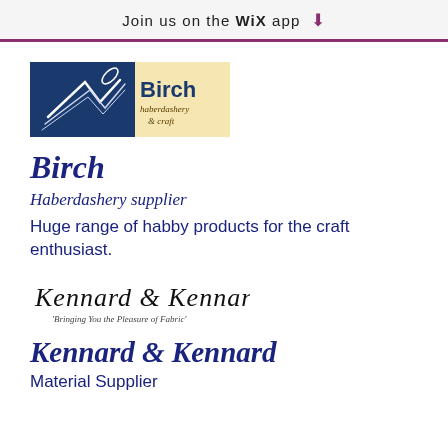Join us on the WiX app
[Figure (logo): Birch haberdashery & craft logo — blue rectangle with stylized thread/needle graphic and Birch text, haberdashery & craft in cream/gold text]
Birch
Haberdashery supplier
Huge range of habby products for the craft enthusiast.
[Figure (logo): Kennard & Kennard cursive script logo with tagline 'Bringing You the Pleasure of Fabric']
Kennard & Kennard
Material Supplier